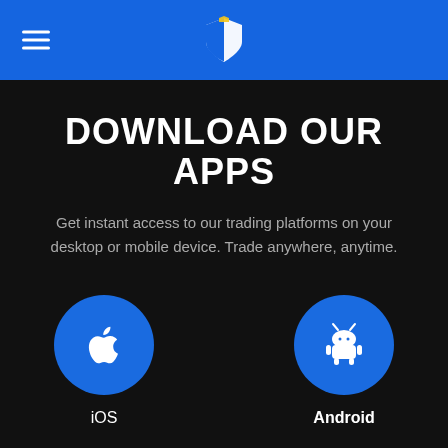Navigation bar with hamburger menu and shield logo
DOWNLOAD OUR APPS
Get instant access to our trading platforms on your desktop or mobile device. Trade anywhere, anytime.
[Figure (logo): Blue circle with white Apple logo icon, labeled iOS]
[Figure (logo): Blue circle with white Android robot icon, labeled Android]